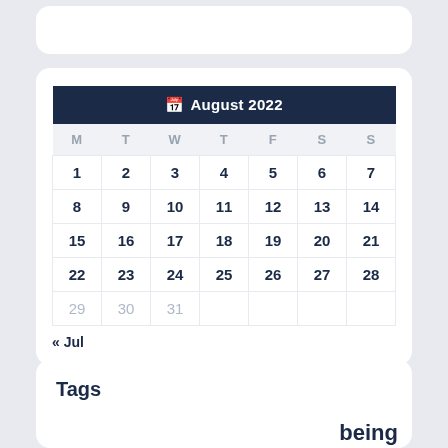[Figure (other): August 2022 calendar widget with dark navy header showing calendar icon and month/year, days of week row (M T W T F S S), date grid from 1-31, with 29/30/31 in muted gray. Navigation link '« Jul' below the grid.]
Tags
being